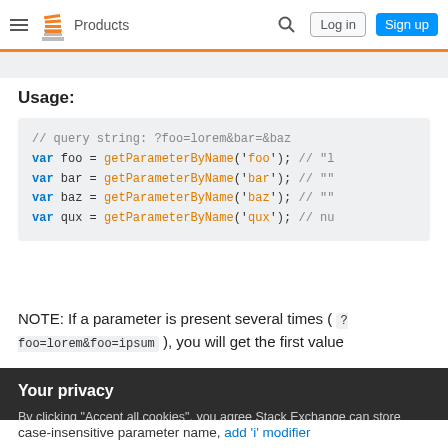Stack Overflow navigation bar with hamburger menu, logo, Products, search, Log in, Sign up
Usage:
// query string: ?foo=lorem&bar=&baz
var foo = getParameterByName('foo'); // "l
var bar = getParameterByName('bar'); // ""
var baz = getParameterByName('baz'); // ""
var qux = getParameterByName('qux'); // nu
NOTE: If a parameter is present several times ( ?foo=lorem&foo=ipsum ), you will get the first value
Your privacy
By clicking "Accept all cookies", you agree Stack Exchange can store cookies on your device and disclose information in accordance with our Cookie Policy.
case-insensitive parameter name, add 'i' modifier